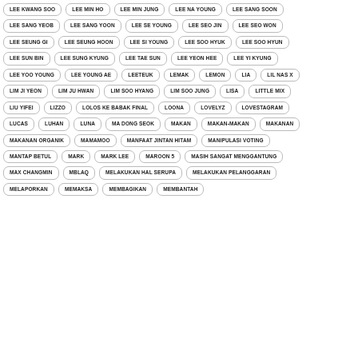LEE KWANG SOO
LEE MIN HO
LEE MIN JUNG
LEE NA YOUNG
LEE SANG SOON
LEE SANG YEOB
LEE SANG YOON
LEE SE YOUNG
LEE SEO JIN
LEE SEO WON
LEE SEUNG GI
LEE SEUNG HOON
LEE SI YOUNG
LEE SOO HYUK
LEE SOO HYUN
LEE SUN BIN
LEE SUNG KYUNG
LEE TAE SUN
LEE YEON HEE
LEE YI KYUNG
LEE YOO YOUNG
LEE YOUNG AE
LEETEUK
LEMAK
LEMON
LIA
LIL NAS X
LIM JI YEON
LIM JU HWAN
LIM SOO HYANG
LIM SOO JUNG
LISA
LITTLE MIX
LIU YIFEI
LIZZO
LOLOS KE BABAK FINAL
LOONA
LOVELYZ
LOVESTAGRAM
LUCAS
LUHAN
LUNA
MA DONG SEOK
MAKAN
MAKAN-MAKAN
MAKANAN
MAKANAN ORGANIK
MAMAMOO
MANFAAT JINTAN HITAM
MANIPULASI VOTING
MANTAP BETUL
MARK
MARK LEE
MAROON 5
MASIH SANGAT MENGGANTUNG
MAX CHANGMIN
MBLAQ
MELAKUKAN HAL SERUPA
MELAKUKAN PELANGGARAN
MELAPORKAN
MEMAKSA
MEMBAGIKAN
MEMBANTAH